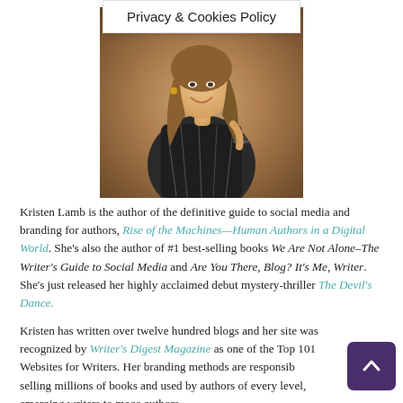Privacy & Cookies Policy
[Figure (photo): Photo of Kristen Lamb, a smiling woman with long wavy hair, wearing a black and white patterned dress, holding glasses, photographed outdoors against a blurred natural background.]
Kristen Lamb is the author of the definitive guide to social media and branding for authors, Rise of the Machines—Human Authors in a Digital World. She's also the author of #1 best-selling books We Are Not Alone–The Writer's Guide to Social Media and Are You There, Blog? It's Me, Writer. She's just released her highly acclaimed debut mystery-thriller The Devil's Dance.
Kristen has written over twelve hundred blogs and her site was recognized by Writer's Digest Magazine as one of the Top 101 Websites for Writers. Her branding methods are responsible for selling millions of books and used by authors of every level, from emerging writers to mega authors.